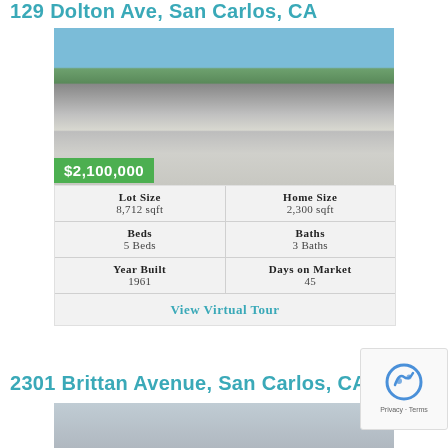129 Dolton Ave, San Carlos, CA
[Figure (photo): Exterior photo of a single-story ranch-style home with a two-car garage, driveway, and trees in the background under a blue sky.]
$2,100,000
| Lot Size | Home Size |
| --- | --- |
| 8,712 sqft | 2,300 sqft |
| Beds | Baths |
| 5 Beds | 3 Baths |
| Year Built | Days on Market |
| 1961 | 45 |
View Virtual Tour
2301 Brittan Avenue, San Carlos, CA
[Figure (photo): Partial exterior photo of another property, mostly obscured.]